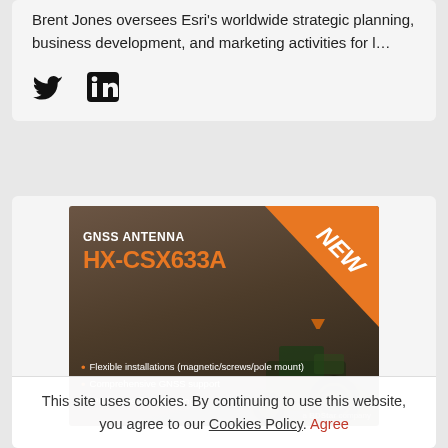Brent Jones oversees Esri's worldwide strategic planning, business development, and marketing activities for l...
[Figure (illustration): Twitter bird icon and LinkedIn square icon social media buttons]
[Figure (infographic): Advertisement for HX-CSX633A GNSS Antenna by BDStar company. Shows product name, NEW banner in orange, bullet points: Flexible installations (magnetic/screws/pole mount), Comprehensive GNSS support, IP67 ruggedized housing. Background shows agricultural field with tractor.]
This site uses cookies. By continuing to use this website, you agree to our Cookies Policy. Agree